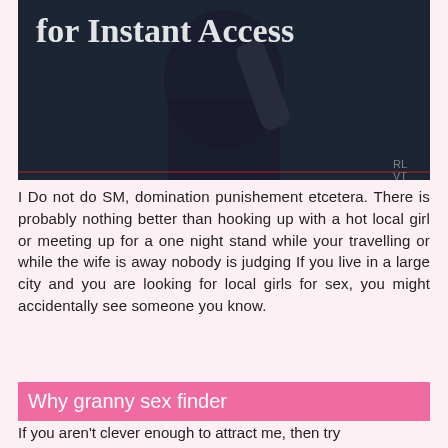[Figure (photo): Dark-toned photo of a person in dark clothing with text overlay reading 'for Instant Access' in large light-colored serif font at the top]
I Do not do SM, domination punishement etcetera. There is probably nothing better than hooking up with a hot local girl or meeting up for a one night stand while your travelling or while the wife is away nobody is judging If you live in a large city and you are looking for local girls for sex, you might accidentally see someone you know.
Why granny sex finder
If you aren't clever enough to attract me, then try